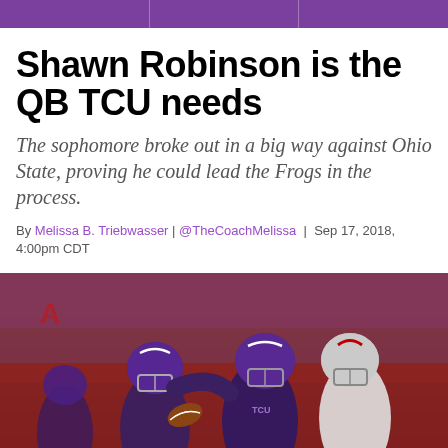Shawn Robinson is the QB TCU needs
The sophomore broke out in a big way against Ohio State, proving he could lead the Frogs in the process.
By Melissa B. Triebwasser | @TheCoachMelissa | Sep 17, 2018, 4:00pm CDT
[Figure (photo): Football game action photo showing TCU players in purple helmets and an Ohio State player in a white/gray helmet, with a football visible and stadium crowd in the background.]